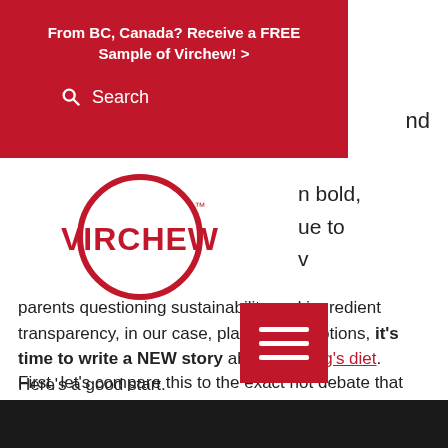From BC, Canada? Receive a FREE Sample of Virchew! >
Search
nd
[Figure (logo): Virchew circular red logo with TM mark]
n bold, ue to v
[Figure (other): Red hamburger/menu button with three white horizontal lines]
parents questioning sustainability and ingredient transparency, in our case, plant-based options, it's time to write a NEW story about our dog's diet. Here's a good start.
First, let's compare this to the exact hot debate that has occurred in plant-based human nutrition in these three stages:
[Figure (photo): Partial dark image visible at bottom of page]